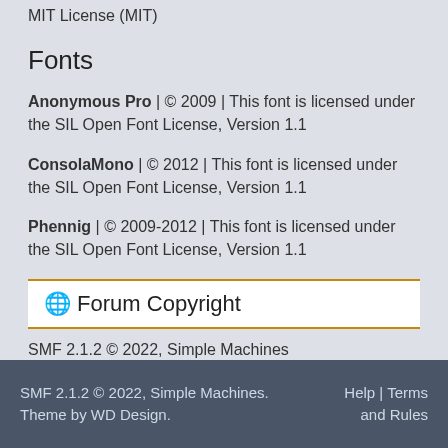MIT License (MIT)
Fonts
Anonymous Pro | © 2009 | This font is licensed under the SIL Open Font License, Version 1.1
ConsolaMono | © 2012 | This font is licensed under the SIL Open Font License, Version 1.1
Phennig | © 2009-2012 | This font is licensed under the SIL Open Font License, Version 1.1
🌐 Forum Copyright
SMF 2.1.2 © 2022, Simple Machines
SMF 2.1.2 © 2022, Simple Machines. Theme by WD Design. Help | Terms and Rules